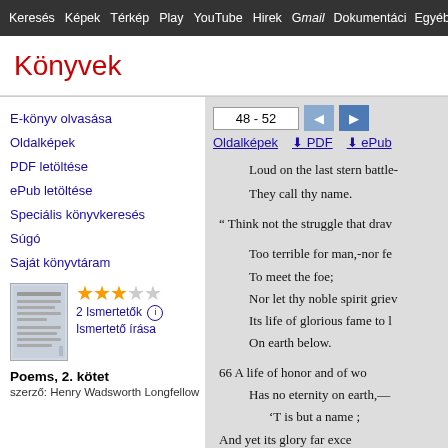Keresés  Képek  Térkép  Play  YouTube  Hirek  Gmeil  Dokumentumok  Egyéb
Könyvek
E-könyv olvasása
Oldalképek
PDF letöltése
ePub letöltése
Speciális könyvkeresés
Súgó
Saját könyvtáram
2 Ismertetők   Ismertető írása
Poems, 2. kötet
szerző: Henry Wadsworth Longfellow
48 - 52
Oldalképek  ↓ PDF  ↓ ePub
Loud on the last stern battle-
They call thy name.

" Think not the struggle that drav

Too terrible for man,-nor fe
To meet the foe;
Nor let thy noble spirit griev
Its life of glorious fame to l
On earth below.

66 A life of honor and of wo
Has no eternity on earth,—
  'T is but a name ;
And yet its glory far exce